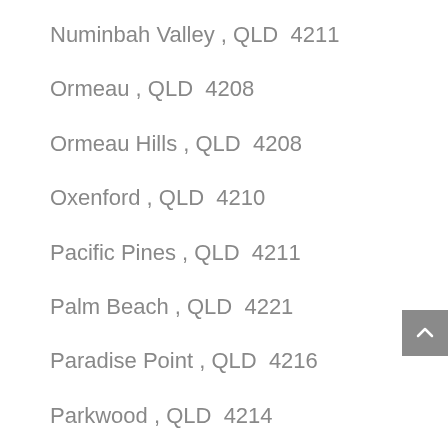Numinbah Valley , QLD  4211
Ormeau , QLD  4208
Ormeau Hills , QLD  4208
Oxenford , QLD  4210
Pacific Pines , QLD  4211
Palm Beach , QLD  4221
Paradise Point , QLD  4216
Parkwood , QLD  4214
Pimpama , QLD  4209